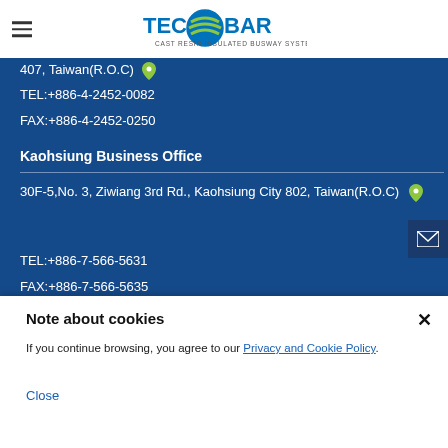[Figure (logo): TEC-BAR logo with tagline CAST RESIN INSULATED BUSWAY SYSTEMS]
407, Taiwan(R.O.C)
TEL:+886-4-2452-0082
FAX:+886-4-2452-0250
Kaohsiung Business Office
30F-5,No. 3, Ziwiang 3rd Rd., Kaohsiung City 802, Taiwan(R.O.C)
TEL:+886-7-566-5631
FAX:+886-7-566-5635
Note about cookies
If you continue browsing, you agree to our Privacy and Cookie Policy.
Close